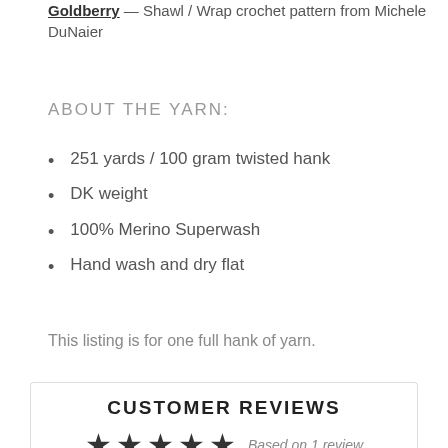Goldberry — Shawl / Wrap crochet pattern from Michele DuNaier
ABOUT THE YARN:
251 yards / 100 gram twisted hank
DK weight
100% Merino Superwash
Hand wash and dry flat
This listing is for one full hank of yarn.
CUSTOMER REVIEWS
Based on 1 review